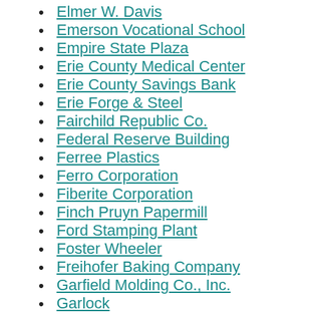Elmer W. Davis
Emerson Vocational School
Empire State Plaza
Erie County Medical Center
Erie County Savings Bank
Erie Forge & Steel
Fairchild Republic Co.
Federal Reserve Building
Ferree Plastics
Ferro Corporation
Fiberite Corporation
Finch Pruyn Papermill
Ford Stamping Plant
Foster Wheeler
Freihofer Baking Company
Garfield Molding Co., Inc.
Garlock